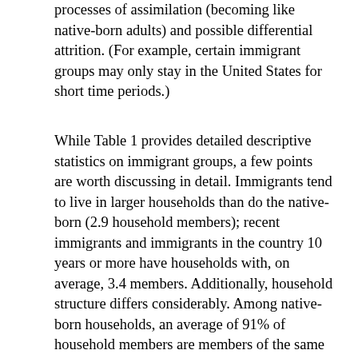processes of assimilation (becoming like native-born adults) and possible differential attrition. (For example, certain immigrant groups may only stay in the United States for short time periods.)
While Table 1 provides detailed descriptive statistics on immigrant groups, a few points are worth discussing in detail. Immigrants tend to live in larger households than do the native-born (2.9 household members); recent immigrants and immigrants in the country 10 years or more have households with, on average, 3.4 members. Additionally, household structure differs considerably. Among native-born households, an average of 91% of household members are members of the same nuclear family; in contrast, for the newest immigrants, this figure is 77%. As noted in other studies, immigrants in our sample have a stronger bi-modal educational distribution than is the case for native-born adults, with 15% of the newest immigrants arriving without a high school diploma (compared to just 8% of the native-born) and 65% having at least some college, compared to just 57% of the native-born. The share of immigrants with college degrees decreases by tenure cohort, with only 57% of